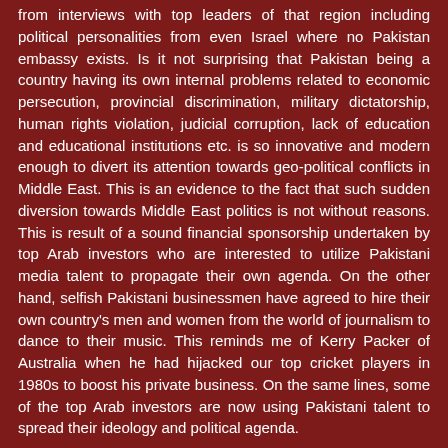from interviews with top leaders of that region including political personalities from even Israel where no Pakistan embassy exists. Is it not surprising that Pakistan being a country having its own internal problems related to economic persecution, provincial discrimination, military dictatorship, human rights violation, judicial corruption, lack of education and educational institutions etc. is so innovative and modern enough to divert its attention towards geo-political conflicts in Middle East. This is an evidence to the fact that such sudden diversion towards Middle East politics is not without reasons. This is result of a sound financial sponsorship undertaken by top Arab investors who are interested to utilize Pakistani media talent to propagate their own agenda. On the other hand, selfish Pakistani businessmen have agreed to hire their own country's men and women from the world of journalism to dance to their music. This reminds me of Kerry Packer of Australia when he had hijacked our top cricket players in 1980s to boost his private business. On the same lines, some of the top Arab investors are now using Pakistani talent to spread their ideology and political agenda.
It is very shameful on the part of Pakistani journalists to